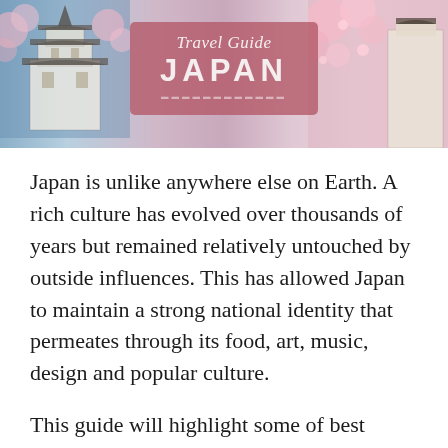[Figure (illustration): Travel Guide Japan banner with cherry blossom and castle background, featuring a pink/rose overlay box with script text 'Travel Guide' and bold text 'JAPAN']
Japan is unlike anywhere else on Earth. A rich culture has evolved over thousands of years but remained relatively untouched by outside influences. This has allowed Japan to maintain a strong national identity that permeates through its food, art, music, design and popular culture.
This guide will highlight some of best places to eat, things to do and places to stay in some of Japan's most popular cities, as well as some of the weird and wacky